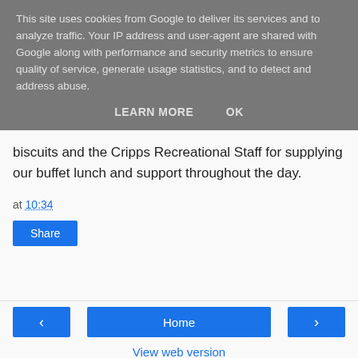This site uses cookies from Google to deliver its services and to analyze traffic. Your IP address and user-agent are shared with Google along with performance and security metrics to ensure quality of service, generate usage statistics, and to detect and address abuse.
LEARN MORE   OK
biscuits and the Cripps Recreational Staff for supplying our buffet lunch and support throughout the day.
at 10:34
Share
‹   Home   ›
View web version
Powered by Blogger.